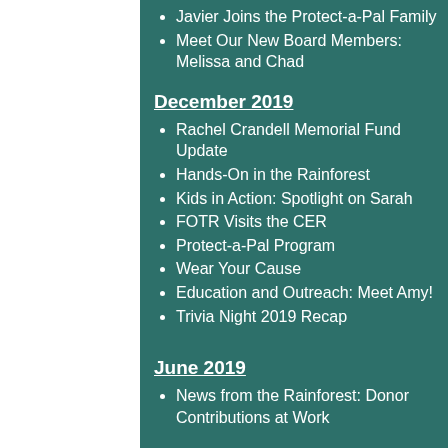Javier Joins the Protect-a-Pal Family
Meet Our New Board Members: Melissa and Chad
December 2019
Rachel Crandell Memorial Fund Update
Hands-On in the Rainforest
Kids in Action: Spotlight on Sarah
FOTR Visits the CER
Protect-a-Pal Program
Wear Your Cause
Education and Outreach: Meet Amy!
Trivia Night 2019 Recap
June 2019
News from the Rainforest: Donor Contributions at Work